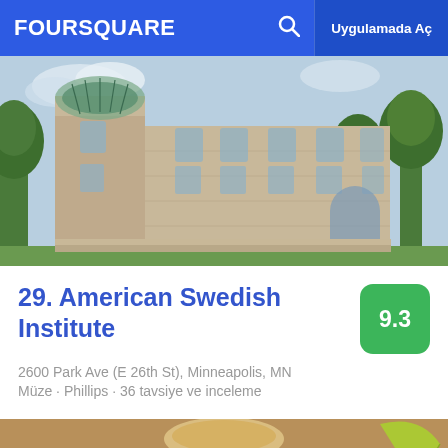FOURSQUARE  Uygulamada Aç
[Figure (photo): Photo of the American Swedish Institute building exterior, a large historic stone mansion with ornate architecture and trees]
29. American Swedish Institute
9.3
2600 Park Ave (E 26th St), Minneapolis, MN
Müze · Phillips · 36 tavsiye ve inceleme
[Figure (photo): Photo of three tacos topped with avocado slices, salsa, shredded lettuce, and crumbled cheese, served on a plate]